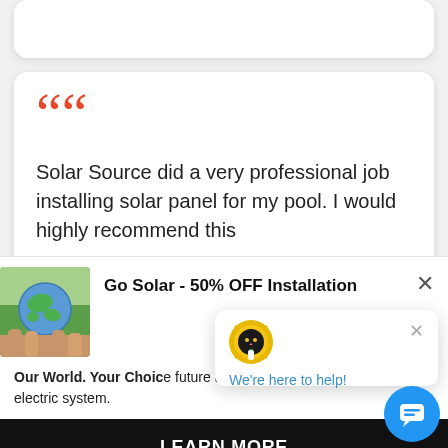[Figure (screenshot): Partial white card at top of page]
Solar Source did a very professional job installing solar panel for my pool. I would highly recommend this.
[Figure (photo): Hands holding a globe/earth with green background - solar ad image]
Go Solar - 50% OFF Installation
Our World. Your Choice future awaits with 50% off electric system.
LEARN MORE
[Figure (illustration): Chat widget with cat mascot icon and text We're here to help!]
We're here to help!